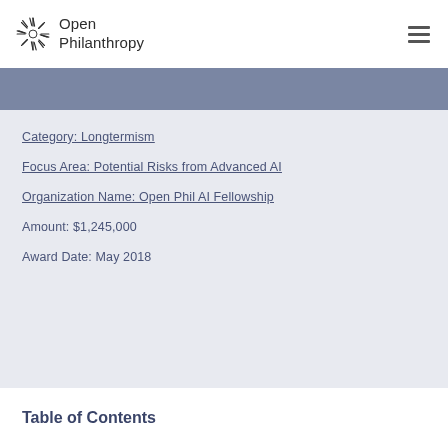Open Philanthropy
Category: Longtermism
Focus Area: Potential Risks from Advanced AI
Organization Name: Open Phil AI Fellowship
Amount: $1,245,000
Award Date: May 2018
Table of Contents